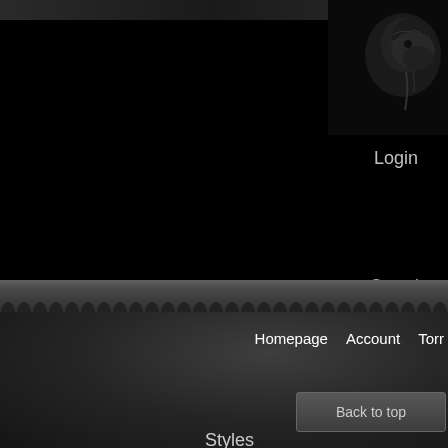[Figure (screenshot): Dark website header with dragon/creature image in top right corner on black background]
Login
Search ou
[Figure (illustration): Decorative scallop/arch pattern border strip separating header from footer navigation area]
Homepage   Account   Torr
Back to top
Styles